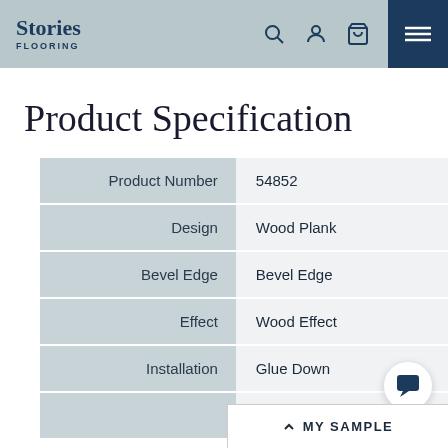Stories FLOORING
Product Specification
| Field | Value |
| --- | --- |
| Product Number | 54852 |
| Design | Wood Plank |
| Bevel Edge | Bevel Edge |
| Effect | Wood Effect |
| Installation | Glue Down |